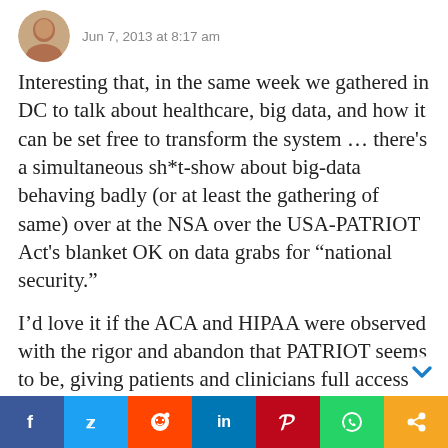Jun 7, 2013 at 8:17 am
Interesting that, in the same week we gathered in DC to talk about healthcare, big data, and how it can be set free to transform the system … there's a simultaneous sh*t-show about big-data behaving badly (or at least the gathering of same) over at the NSA over the USA-PATRIOT Act's blanket OK on data grabs for “national security.”
I’d love it if the ACA and HIPAA were observed with the rigor and abandon that PATRIOT seems to be, giving patients and clinicians full access and open comms to work together toward best outcomes. Gimme my dam data. Let it flow to and FROM me (upload is as important as download for patients, right?). However, the power in the system